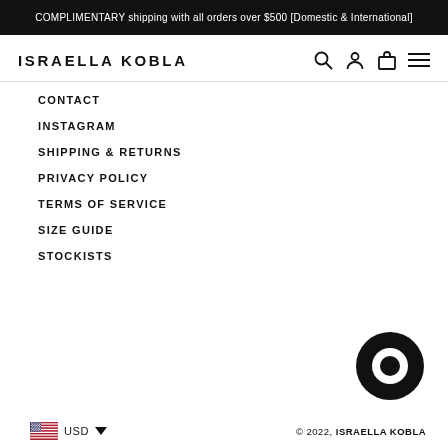COMPLIMENTARY shipping with all orders over $500 [Domestic & International]
ISRAELLA KOBLA
CONTACT
INSTAGRAM
SHIPPING & RETURNS
PRIVACY POLICY
TERMS OF SERVICE
SIZE GUIDE
STOCKISTS
[Figure (logo): Chat bubble / messaging icon (circular logo with inner circle cutout)]
© 2022, ISRAELLA KOBLA